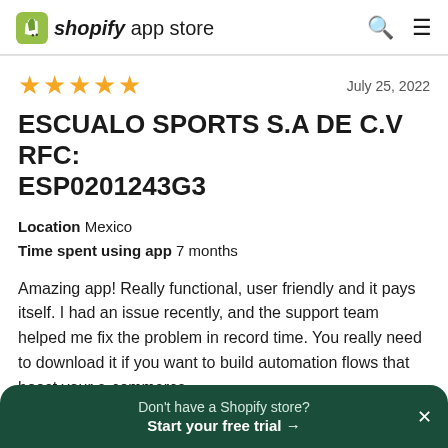shopify app store
★★★★★    July 25, 2022
ESCUALO SPORTS S.A DE C.V RFC: ESP0201243G3
Location  Mexico
Time spent using app  7 months
Amazing app! Really functional, user friendly and it pays itself. I had an issue recently, and the support team helped me fix the problem in record time. You really need to download it if you want to build automation flows that boost your e-commerce.
Don't have a Shopify store? Start your free trial →